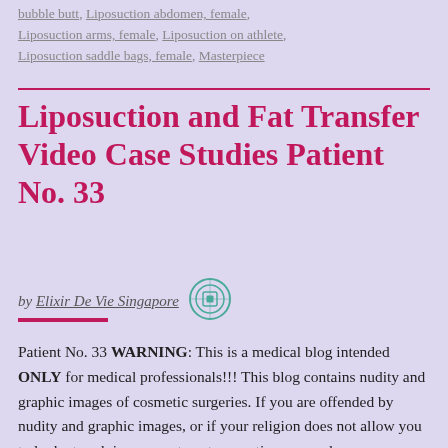bubble butt, Liposuction abdomen, female, Liposuction arms, female, Liposuction on athlete, Liposuction saddle bags, female, Masterpiece
Liposuction and Fat Transfer Video Case Studies Patient No. 33
by Elixir De Vie Singapore
Patient No. 33 WARNING: This is a medical blog intended ONLY for medical professionals!!! This blog contains nudity and graphic images of cosmetic surgeries. If you are offended by nudity and graphic images, or if your religion does not allow you to look at such images or to get cosmetic surgery done on yourself, please leave NOW!!!